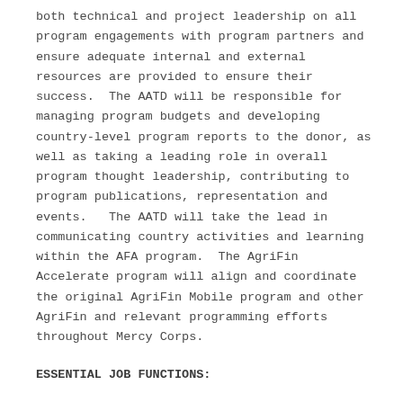both technical and project leadership on all program engagements with program partners and ensure adequate internal and external resources are provided to ensure their success.  The AATD will be responsible for managing program budgets and developing country-level program reports to the donor, as well as taking a leading role in overall program thought leadership, contributing to program publications, representation and events.   The AATD will take the lead in communicating country activities and learning within the AFA program.  The AgriFin Accelerate program will align and coordinate the original AgriFin Mobile program and other AgriFin and relevant programming efforts throughout Mercy Corps.
ESSENTIAL JOB FUNCTIONS: